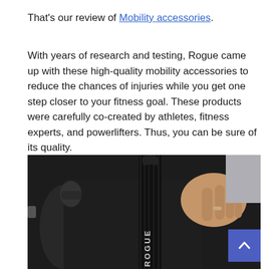That's our review of Mobility accessories.
With years of research and testing, Rogue came up with these high-quality mobility accessories to reduce the chances of injuries while you get one step closer to your fitness goal. These products were carefully co-created by athletes, fitness experts, and powerlifters. Thus, you can be sure of its quality.
[Figure (photo): A person dressed in black gripping a Rogue-branded lifting strap, preparing to lift. The Rogue logo is visible on the black strap in the foreground.]